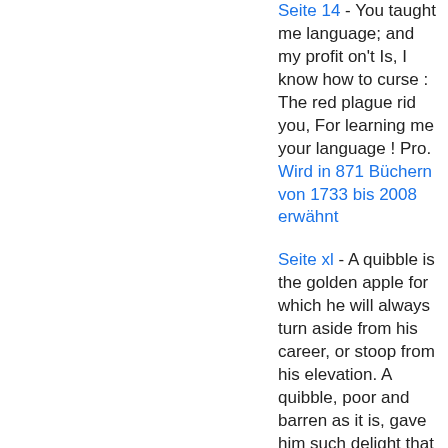Seite 14 - You taught me language; and my profit on't Is, I know how to curse : The red plague rid you, For learning me your language ! Pro. Wird in 871 Büchern von 1733 bis 2008 erwähnt
Seite xl - A quibble is the golden apple for which he will always turn aside from his career, or stoop from his elevation. A quibble, poor and barren as it is, gave him such delight that he was content to purchase it by the sacrifice of reason, propriety and truth. A quibble was to him the fatal Cleopatra for which he lost the world, and was content to lose it.